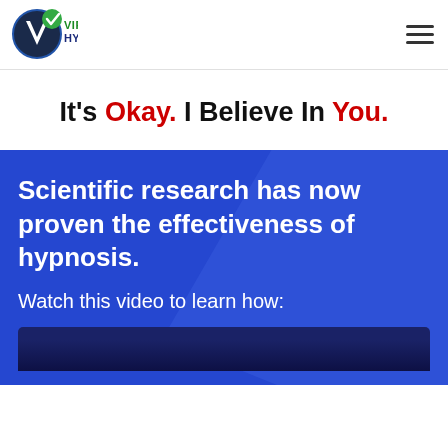[Figure (logo): Virginia Hypnosis logo with a globe/V icon in blue and green, and text 'VIRGINIA HYPNOSIS' in blue and green bold capitals]
It's Okay. I Believe In You.
Scientific research has now proven the effectiveness of hypnosis.
Watch this video to learn how:
[Figure (screenshot): Video thumbnail at bottom of page, partially visible, dark background]